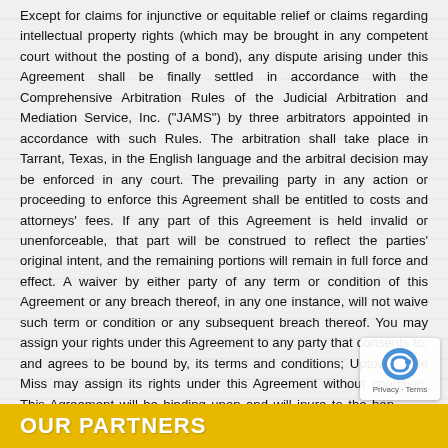Except for claims for injunctive or equitable relief or claims regarding intellectual property rights (which may be brought in any competent court without the posting of a bond), any dispute arising under this Agreement shall be finally settled in accordance with the Comprehensive Arbitration Rules of the Judicial Arbitration and Mediation Service, Inc. ("JAMS") by three arbitrators appointed in accordance with such Rules. The arbitration shall take place in Tarrant, Texas, in the English language and the arbitral decision may be enforced in any court. The prevailing party in any action or proceeding to enforce this Agreement shall be entitled to costs and attorneys' fees. If any part of this Agreement is held invalid or unenforceable, that part will be construed to reflect the parties' original intent, and the remaining portions will remain in full force and effect. A waiver by either party of any term or condition of this Agreement or any breach thereof, in any one instance, will not waive such term or condition or any subsequent breach thereof. You may assign your rights under this Agreement to any party that consents to, and agrees to be bound by, its terms and conditions; Uptown Little Miss may assign its rights under this Agreement without condition. This Agreement will be binding upon and will inure to the benefit of the parties, their successors and permitted assigns.
OUR PARTNERS